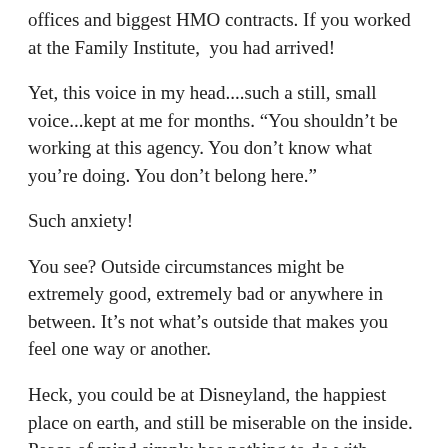offices and biggest HMO contracts. If you worked at the Family Institute,  you had arrived!
Yet, this voice in my head....such a still, small voice...kept at me for months. “You shouldn’t be working at this agency. You don’t know what you’re doing. You don’t belong here.”
Such anxiety!
You see? Outside circumstances might be extremely good, extremely bad or anywhere in between. It’s not what’s outside that makes you feel one way or another.
Heck, you could be at Disneyland, the happiest place on earth, and still be miserable on the inside. Peace of mind simply has nothing to do with outside circumstances. It has everything to do with what’s going down on the inside.
When you really get this, you’ll change your focus to inner work and begin to downplay the importance of outside